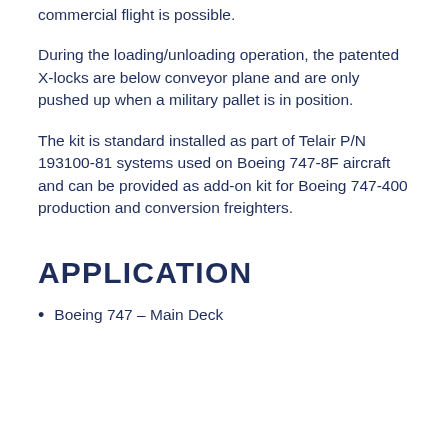commercial flight is possible.
During the loading/unloading operation, the patented X-locks are below conveyor plane and are only pushed up when a military pallet is in position.
The kit is standard installed as part of Telair P/N 193100-81 systems used on Boeing 747-8F aircraft and can be provided as add-on kit for Boeing 747-400 production and conversion freighters.
APPLICATION
Boeing 747 – Main Deck